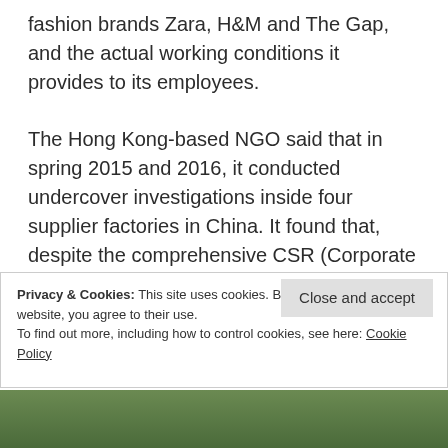fashion brands Zara, H&M and The Gap, and the actual working conditions it provides to its employees.
The Hong Kong-based NGO said that in spring 2015 and 2016, it conducted undercover investigations inside four supplier factories in China. It found that, despite the comprehensive CSR (Corporate Social Responsibility) policies and ethical practices the three brands proclaim to have, they often fail to meet them.
Privacy & Cookies: This site uses cookies. By continuing to use this website, you agree to their use.
To find out more, including how to control cookies, see here: Cookie Policy
Close and accept
[Figure (photo): Partial photo strip at bottom of page showing a green/outdoor scene]